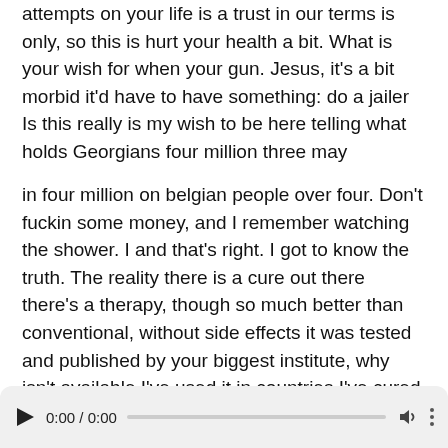attempts on your life is a trust in our terms is only, so this is hurt your health a bit. What is your wish for when your gun. Jesus, it's a bit morbid it'd have to have something: do a jailer Is this really is my wish to be here telling what holds Georgians four million three may
in four million on belgian people over four. Don't fuckin some money, and I remember watching the shower. I and that's right. I got to know the truth. The reality there is a cure out there there's a therapy, though so much better than conventional, without side effects it was tested and published by your biggest institute, why isn't available I've used it in countries I've cured countries and the only thing is now it's out there. That was my wish bill and thank God for giving it to me
[Figure (other): Audio player bar with play button, time display showing 0:00 / 0:00, progress bar, volume icon, and more options icon]